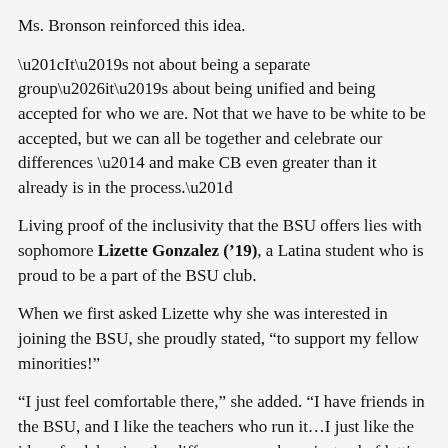Ms. Bronson reinforced this idea.
“It’s not about being a separate group…it’s about being unified and being accepted for who we are. Not that we have to be white to be accepted, but we can all be together and celebrate our differences — and make CB even greater than it already is in the process.”
Living proof of the inclusivity that the BSU offers lies with sophomore Lizette Gonzalez (’19), a Latina student who is proud to be a part of the BSU club.
When we first asked Lizette why she was interested in joining the BSU, she proudly stated, “to support my fellow minorities!”
“I just feel comfortable there,” she added. “I have friends in the BSU, and I like the teachers who run it…I just like the idea of celebrating the differences we have instead of letting them tear us apart.”
Ms. Williams believes that one of the reasons that having a BSU is so important is because our cultural differences as Americans have become less intense.
“Cultures have fused,” she says, “which is a good thing, but we’re just trying to reinforce who we are and what our culture is about… we can’t forget our history.”